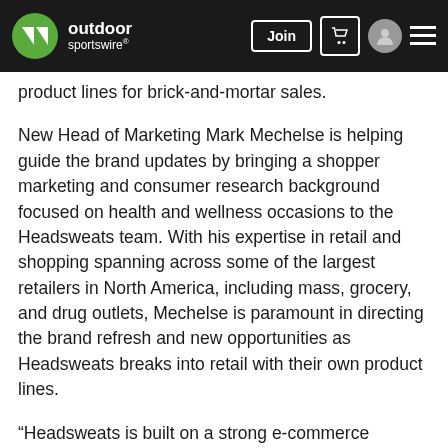outdoor sportswire
product lines for brick-and-mortar sales.
New Head of Marketing Mark Mechelse is helping guide the brand updates by bringing a shopper marketing and consumer research background focused on health and wellness occasions to the Headsweats team. With his expertise in retail and shopping spanning across some of the largest retailers in North America, including mass, grocery, and drug outlets, Mechelse is paramount in directing the brand refresh and new opportunities as Headsweats breaks into retail with their own product lines.
“Headsweats is built on a strong e-commerce presence and with Mark’s help we are excited to